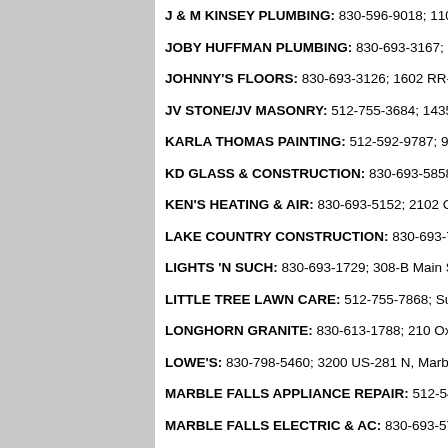J & M KINSEY PLUMBING: 830-596-9018; 1106 Suns
JOBY HUFFMAN PLUMBING: 830-693-3167; 1510 US
JOHNNY'S FLOORS: 830-693-3126; 1602 RR-1431, Ma
JV STONE/JV MASONRY: 512-755-3684; 1435 US-281
KARLA THOMAS PAINTING: 512-592-9787; 928 Suns
KD GLASS & CONSTRUCTION: 830-693-5858; Marbl
KEN'S HEATING & AIR: 830-693-5152; 2102 Commerc
LAKE COUNTRY CONSTRUCTION: 830-693-7777; M
LIGHTS 'N SUCH: 830-693-1729; 308-B Main St, Marbl
LITTLE TREE LAWN CARE: 512-755-7868; Sunset, M
LONGHORN GRANITE: 830-613-1788; 210 Oxbow Tra
LOWE'S: 830-798-5460; 3200 US-281 N, Marble Falls, T
MARBLE FALLS APPLIANCE REPAIR: 512-549-261
MARBLE FALLS ELECTRIC & AC: 830-693-5776; 14
MARBLE FALLS GLASS & MIRROR: 830-693-2535;